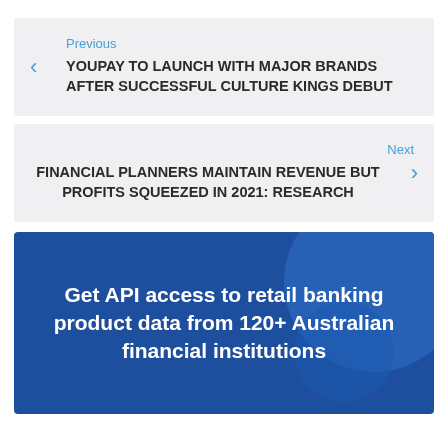Previous
YOUPAY TO LAUNCH WITH MAJOR BRANDS AFTER SUCCESSFUL CULTURE KINGS DEBUT
Next
FINANCIAL PLANNERS MAINTAIN REVENUE BUT PROFITS SQUEEZED IN 2021: RESEARCH
[Figure (infographic): Blue banner advertisement with text: Get API access to retail banking product data from 120+ Australian financial institutions]